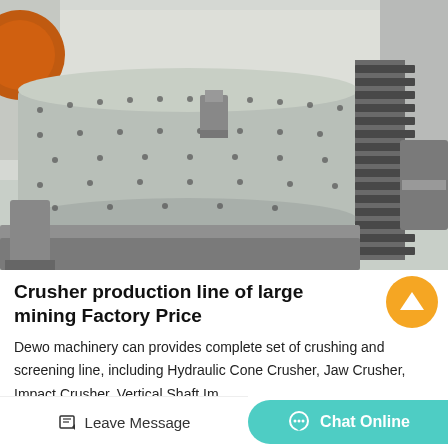[Figure (photo): Industrial ball mill / crusher production machine with large cylindrical drum and gear rack, photographed in a factory/outdoor setting. The machine is gray/silver with visible bolts and a large toothed gear on the right side.]
Crusher production line of large mining Factory Price
Dewo machinery can provides complete set of crushing and screening line, including Hydraulic Cone Crusher, Jaw Crusher, Impact Crusher, Vertical Shaft Im...